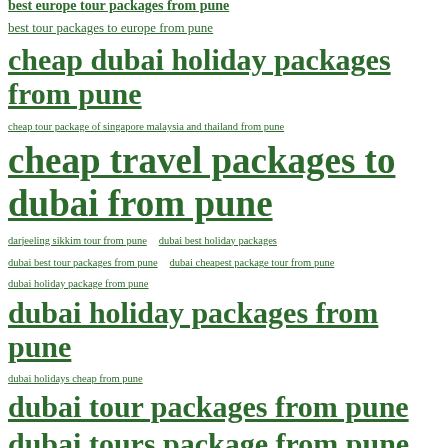best europe tour packages from pune
best tour packages to europe from pune
cheap dubai holiday packages from pune
cheap tour package of singapore malaysia and thailand from pune
cheap travel packages to dubai from pune
darjeeling sikkim tour from pune
dubai best holiday packages
dubai best tour packages from pune
dubai cheapest package tour from pune
dubai holiday package from pune
dubai holiday packages from pune
dubai holidays cheap from pune
dubai tour packages from pune
dubai tours package from pune
dubai tours package from pune (continued)